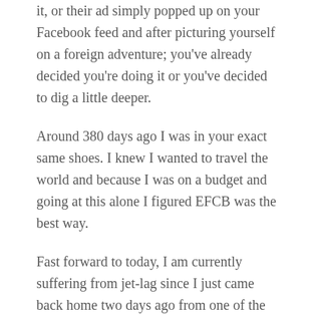it, or their ad simply popped up on your Facebook feed and after picturing yourself on a foreign adventure; you've already decided you're doing it or you've decided to dig a little deeper.
Around 380 days ago I was in your exact same shoes. I knew I wanted to travel the world and because I was on a budget and going at this alone I figured EFCB was the best way.
Fast forward to today, I am currently suffering from jet-lag since I just came back home two days ago from one of the best trips of my life. I signed myself up for the London, Paris, Barcelona trip with an additional three day excursion to Ireland.
So, you may be wondering- how was it traveling